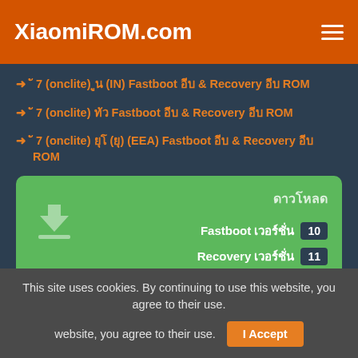XiaomiROM.com
➜ 紅米 7 (onclite) 印度 (IN) Fastboot 官方 & Recovery 官方 ROM
➜ 紅米 7 (onclite) 全球 Fastboot 官方 & Recovery 官方 ROM
➜ 紅米 7 (onclite) 歐洲 (歐) (EEA) Fastboot 官方 & Recovery 官 方 ROM
[Figure (other): Green download card with download icon, version label text, Fastboot 版本 badge 10, Recovery 版本 badge 11]
This site uses cookies. By continuing to use this website, you agree to their use. I Accept